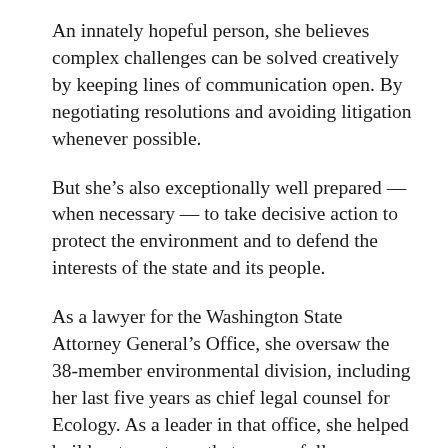An innately hopeful person, she believes complex challenges can be solved creatively by keeping lines of communication open. By negotiating resolutions and avoiding litigation whenever possible.
But she's also exceptionally well prepared — when necessary — to take decisive action to protect the environment and to defend the interests of the state and its people.
As a lawyer for the Washington State Attorney General's Office, she oversaw the 38-member environmental division, including her last five years as chief legal counsel for Ecology. As a leader in that office, she helped build a strong team that successfully defended the state's environment on the full spectrum of challenging issues — from climate change to toxics reduction, air and water quality, to cleanup of the Hanford nuclear